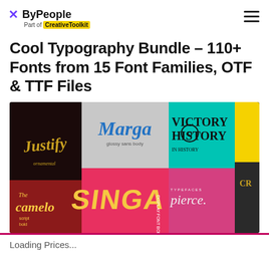ByPeople — Part of CreativeToolkit
Cool Typography Bundle – 110+ Fonts from 15 Font Families, OTF & TTF Files
[Figure (photo): Collage of font previews including Justify, Marga, Victory History, The Camelo, Singa, pierce. and other fonts displayed in colorful panels]
Loading Prices...